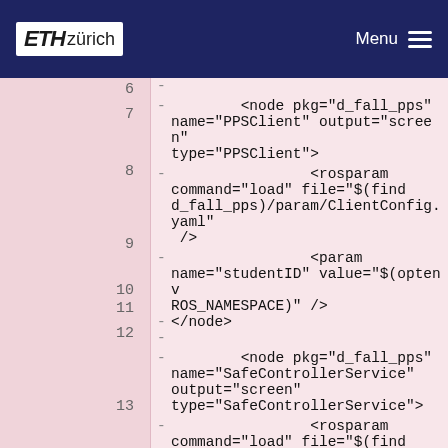ETH zürich / Menu
6  -
7  -   <node pkg="d_fall_pps" name="PPSClient" output="screen" type="PPSClient">
8  -                <rosparam command="load" file="$(find d_fall_pps)/param/ClientConfig.yaml" />
9  -                <param name="studentID" value="$(optenv ROS_NAMESPACE)" />
10 -            </node>
11 -
12 -   <node pkg="d_fall_pps" name="SafeControllerService" output="screen" type="SafeControllerService">
13 -                <rosparam command="load" file="$(find d_fall_pps)/param/SafeController.yaml" />